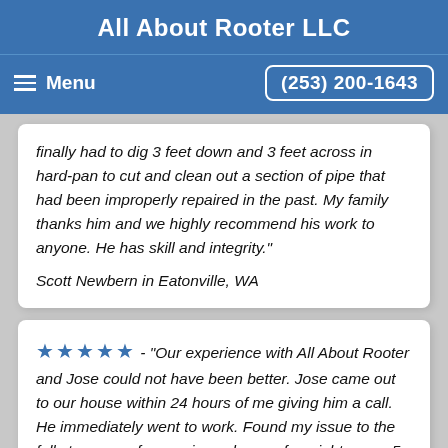All About Rooter LLC
Menu   (253) 200-1643
finally had to dig 3 feet down and 3 feet across in hard-pan to cut and clean out a section of pipe that had been improperly repaired in the past. My family thanks him and we highly recommend his work to anyone. He has skill and integrity."
Scott Newbern in Eatonville, WA
★★★★★ - "Our experience with All About Rooter and Jose could not have been better. Jose came out to our house within 24 hours of me giving him a call. He immediately went to work. Found my issue to the full stoppage of sewer in my house, foresight was a 5 foot